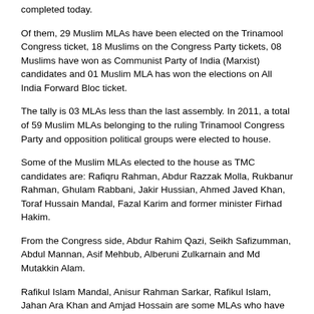completed today.
Of them, 29 Muslim MLAs have been elected on the Trinamool Congress ticket, 18 Muslims on the Congress Party tickets, 08 Muslims have won as Communist Party of India (Marxist) candidates and 01 Muslim MLA has won the elections on All India Forward Bloc ticket.
The tally is 03 MLAs less than the last assembly. In 2011, a total of 59 Muslim MLAs belonging to the ruling Trinamool Congress Party and opposition political groups were elected to house.
Some of the Muslim MLAs elected to the house as TMC candidates are: Rafiqru Rahman, Abdur Razzak Molla, Rukbanur Rahman, Ghulam Rabbani, Jakir Hussian, Ahmed Javed Khan, Toraf Hussain Mandal, Fazal Karim and former minister Firhad Hakim.
From the Congress side, Abdur Rahim Qazi, Seikh Safizumman, Abdul Mannan, Asif Mehbub, Alberuni Zulkarnain and Md Mutakkin Alam.
Rafikul Islam Mandal, Anisur Rahman Sarkar, Rafikul Islam, Jahan Ara Khan and Amjad Hossain are some MLAs who have won on CPI-M tickets.
Ali Imran Ramz has won the election as All India Forward Bloc candidate.
In the last elections, Mamata had fielded a total of 38 Muslim candidates. In the 2016 state elections, Didi had given tickets to 57 Muslims. Out of them 29 have won the election.